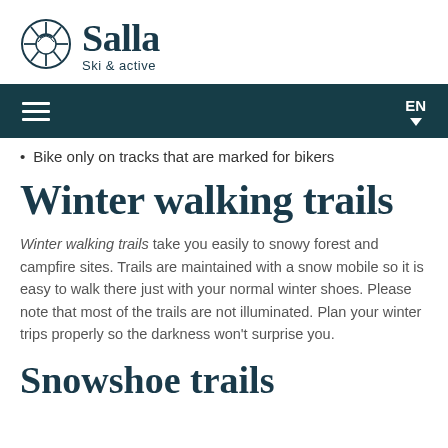Salla Ski & active
Bike only on tracks that are marked for bikers
Winter walking trails
Winter walking trails take you easily to snowy forest and campfire sites. Trails are maintained with a snow mobile so it is easy to walk there just with your normal winter shoes. Please note that most of the trails are not illuminated. Plan your winter trips properly so the darkness won't surprise you.
Snowshoe trails